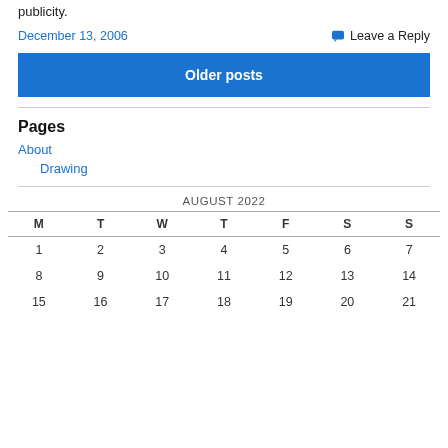publicity.
December 13, 2006   Leave a Reply
Older posts
Pages
About
Drawing
| M | T | W | T | F | S | S |
| --- | --- | --- | --- | --- | --- | --- |
| 1 | 2 | 3 | 4 | 5 | 6 | 7 |
| 8 | 9 | 10 | 11 | 12 | 13 | 14 |
| 15 | 16 | 17 | 18 | 19 | 20 | 21 |